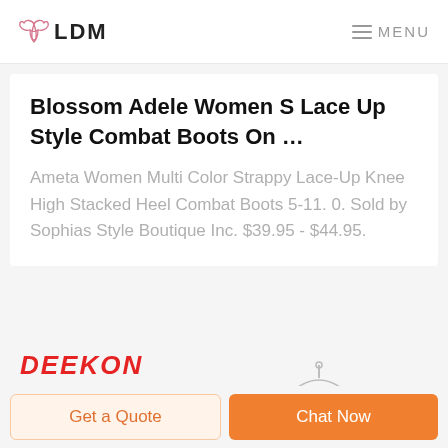LDM  MENU
Blossom Adele Women S Lace Up Style Combat Boots On …
Ameta Women Multi Color Strappy Lace-Up Knee High Stacked Heel Combat Boots 5-11. 0. Sold by Sophias Style Boutique Inc. $39.95 - $44.95.
[Figure (logo): DEEKON logo in bold red italic text]
[Figure (photo): Dark green garment on a hanger, partially visible]
Get a Quote
Chat Now